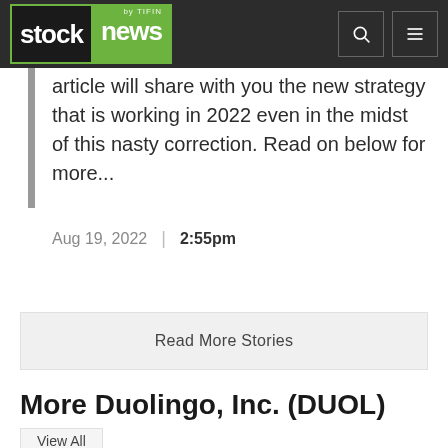[Figure (logo): Stock News by TIFIN logo with black and green background, followed by search and menu icons in dark navigation bar]
article will share with you the new strategy that is working in 2022 even in the midst of this nasty correction. Read on below for more...
Aug 19, 2022 | 2:55pm
Read More Stories
More Duolingo, Inc. (DUOL) News
View All